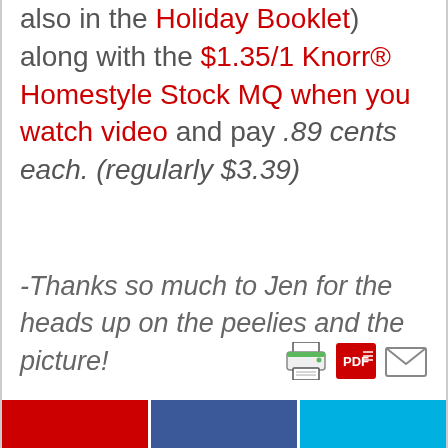also in the Holiday Booklet) along with the $1.35/1 Knorr® Homestyle Stock MQ when you watch video and pay .89 cents each. (regularly $3.39)
-Thanks so much to Jen for the heads up on the peelies and the picture!
[Figure (other): Row of three icons: printer icon, PDF icon, and email/envelope icon]
[Figure (other): Share bar with three colored buttons: red, blue (Facebook), and cyan]